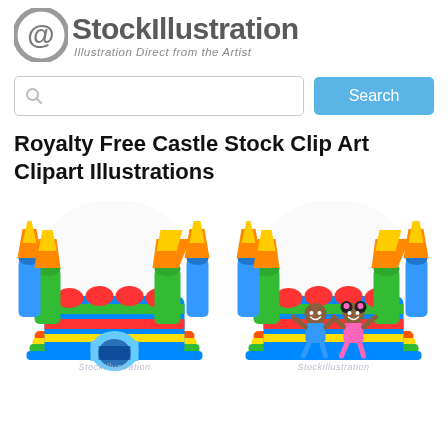[Figure (logo): StockIllustration logo with @ symbol and text 'StockIllustration' with tagline 'Illustration Direct from the Artist']
[Figure (screenshot): Search bar with magnifying glass icon and a blue Search button]
Royalty Free Castle Stock Clip Art Clipart Illustrations
[Figure (illustration): Colorful inflatable bouncy castle clip art illustration with green, blue, red and yellow colors and orange/yellow turrets]
[Figure (illustration): Colorful inflatable bouncy castle clip art illustration with two cartoon children (boy and girl) waving, with green, blue, red and yellow colors and orange/yellow turrets]